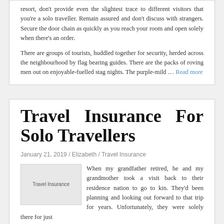resort, don't provide even the slightest trace to different visitors that you're a solo traveller. Remain assured and don't discuss with strangers. Secure the door chain as quickly as you reach your room and open solely when there's an order.
There are groups of tourists, huddled together for security, herded across the neighbourhood by flag bearing guides. There are the packs of roving men out on enjoyable-fuelled stag nights. The purple-mild … Read more
Travel Insurance For Solo Travellers
January 21, 2019 / Elizabeth / Travel Insurance
When my grandfather retired, he and my grandmother took a visit back to their residence nation to go to kin. They'd been planning and looking out forward to that trip for years. Unfortunately, they were solely there for just